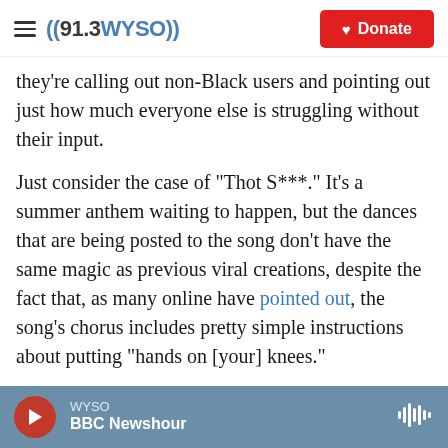((91.3 WYSO)) | Donate
they're calling out non-Black users and pointing out just how much everyone else is struggling without their input.
Just consider the case of "Thot S***." It's a summer anthem waiting to happen, but the dances that are being posted to the song don't have the same magic as previous viral creations, despite the fact that, as many online have pointed out, the song's chorus includes pretty simple instructions about putting "hands on [your] knees."
As the strike continues, some users have been posting videos lamenting how different their
WYSO | BBC Newshour